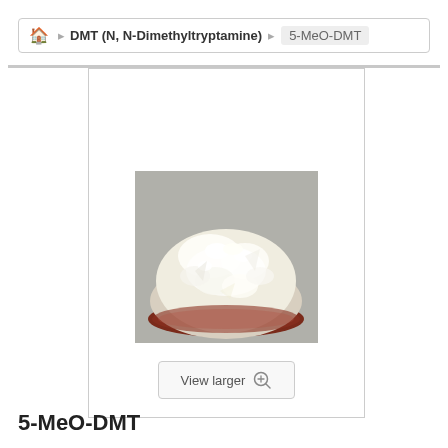🏠  DMT (N, N-Dimethyltryptamine)  5-MeO-DMT
[Figure (photo): A glass bowl filled with white/off-white crystalline substance (5-MeO-DMT) on a grey background, with a 'View larger' button below.]
5-MeO-DMT